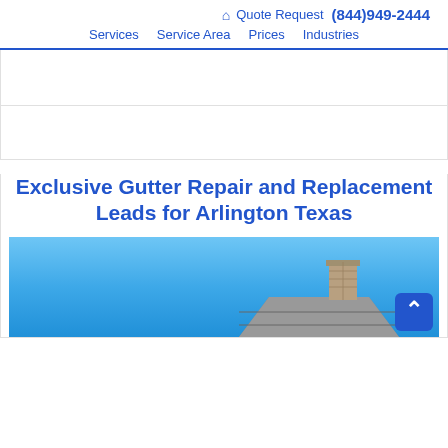Quote Request (844)949-2444 | Services  Service Area  Prices  Industries
[Figure (screenshot): White ad block area at top of page]
Exclusive Gutter Repair and Replacement Leads for Arlington Texas
[Figure (photo): Photo of a house rooftop with brick chimney against a blue sky, with a back-to-top button in the lower right corner]